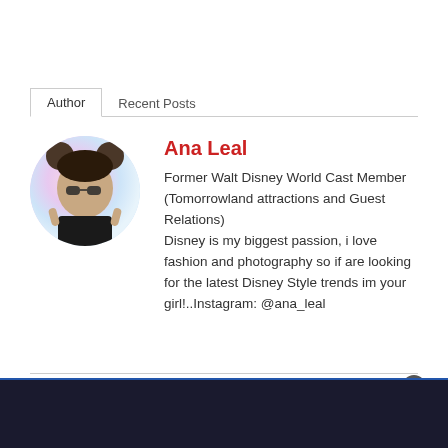Author | Recent Posts
[Figure (photo): Circular avatar photo of Ana Leal, a woman wearing Mickey Mouse ears headband and sunglasses]
Ana Leal
Former Walt Disney World Cast Member (Tomorrowland attractions and Guest Relations)
Disney is my biggest passion, i love fashion and photography so if are looking for the latest Disney Style trends im your girl!..Instagram: @ana_leal